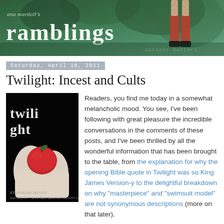[Figure (illustration): Ana Mardoll's Ramblings blog header banner with green forest/foliage background, decorative figure of legs in red dress visible on the right, blog title 'ramblings' in large white text, 'ana mardoll's' above in smaller italic text, and 'context matters.' tagline in lower right]
Saturday, April 16, 2011
Twilight: Incest and Cults
[Figure (photo): Twilight book cover by Stephenie Meyer showing pale hands holding a red apple against a black background, with the word 'twilight' in stylized white text and 'Stephenie Meyer, author of the #1 bestselling Twilight Saga' at the bottom]
Readers, you find me today in a somewhat melancholic mood. You see, I've been following with great pleasure the incredible conversations in the comments of these posts, and I've been thrilled by all the wonderful information that has been brought to the table, from the explanation for why the opening Bible quote in Twilight was so King James Version-y to the delightful breakdown on why "masterpiece" and "swimsuit model" are not synonymous descriptions (more on that later).